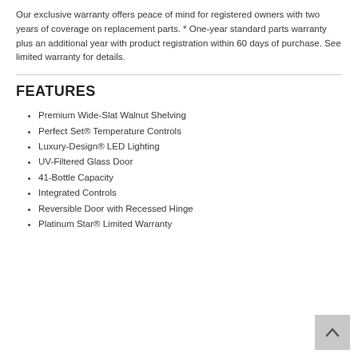Our exclusive warranty offers peace of mind for registered owners with two years of coverage on replacement parts. * One-year standard parts warranty plus an additional year with product registration within 60 days of purchase. See limited warranty for details.
FEATURES
Premium Wide-Slat Walnut Shelving
Perfect Set® Temperature Controls
Luxury-Design® LED Lighting
UV-Filtered Glass Door
41-Bottle Capacity
Integrated Controls
Reversible Door with Recessed Hinge
Platinum Star® Limited Warranty